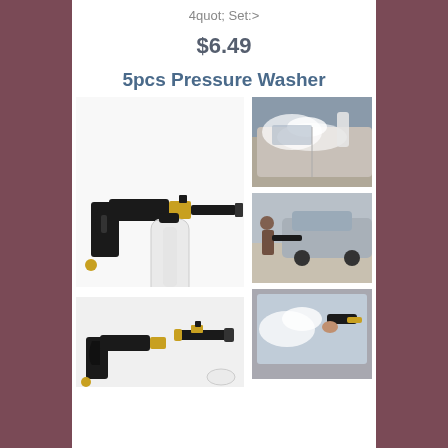4quot; Set:>
$6.49
5pcs Pressure Washer
[Figure (photo): Pressure washer foam gun with black body, brass fittings, and white plastic bottle]
[Figure (photo): Car being washed with foam from pressure washer gun, white foam covering car body]
[Figure (photo): Person using pressure washer gun on grey car in driveway]
[Figure (photo): Person using pressure washer foam gun on car window]
[Figure (photo): Pressure washer gun body and foam lance attachment shown separately]